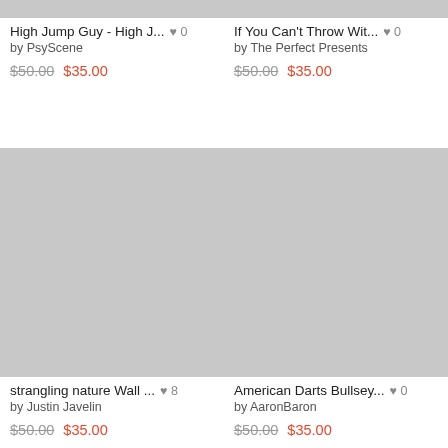[Figure (photo): Product image placeholder (gray rectangle) for High Jump Guy wall art - top portion visible]
High Jump Guy - High J... ♥ 0
by PsyScene
$50.00 $35.00
[Figure (photo): Product image placeholder (gray rectangle) for If You Can't Throw Wit... wall art - top portion visible]
If You Can't Throw Wit... ♥ 0
by The Perfect Presents
$50.00 $35.00
[Figure (photo): Product image placeholder (gray rectangle) for strangling nature Wall art]
strangling nature Wall ... ♥ 8
by Justin Javelin
$50.00 $35.00
[Figure (photo): Product image placeholder (gray rectangle) for American Darts Bullsey... wall art]
American Darts Bullsey... ♥ 0
by AaronBaron
$50.00 $35.00